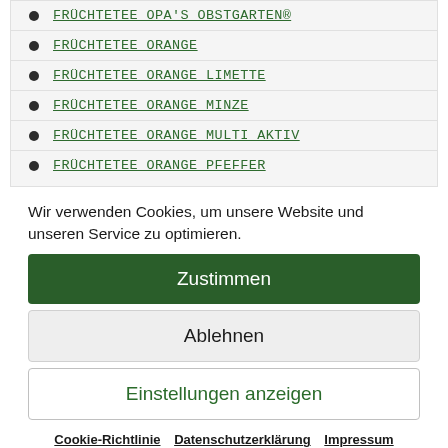FRÜCHTETEE OPA'S OBSTGARTEN®
FRÜCHTETEE ORANGE
FRÜCHTETEE ORANGE LIMETTE
FRÜCHTETEE ORANGE MINZE
FRÜCHTETEE ORANGE MULTI AKTIV
FRÜCHTETEE ORANGE PFEFFER
Wir verwenden Cookies, um unsere Website und unseren Service zu optimieren.
Zustimmen
Ablehnen
Einstellungen anzeigen
Cookie-Richtlinie   Datenschutzerklärung   Impressum